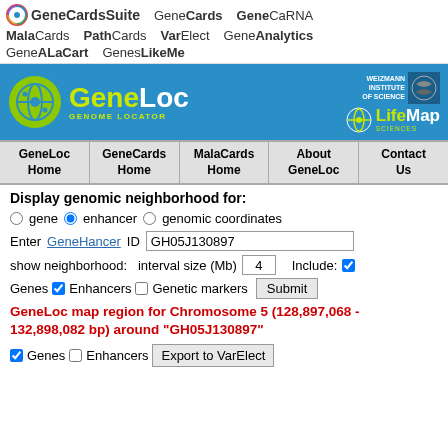GeneCardsSuite  GeneCards  GeneCaRNA  MalaCards  PathCards  VarElect  GeneAnalytics  GeneALaCart  GenesLikeMe
[Figure (screenshot): GeneCards Suite navigation header with logos including GeneCards, GeneCaRNA, MalaCards, PathCards, VarElect, GeneAnalytics, GeneALaCart, GenesLikeMe]
[Figure (logo): GeneLoc Genome Locator banner with Weizmann Institute of Science and LifeMap Sciences logos on blue background]
GeneLoc Home | GeneCards Home | MalaCards Home | About GeneLoc | Contact Us
Display genomic neighborhood for:
gene (radio) enhancer (radio selected) genomic coordinates
Enter GeneHancer ID  GH05J130897
show neighborhood:   interval size (Mb)  4   Include: [checked]  Genes [checked] Enhancers [unchecked] Genetic markers  Submit
GeneLoc map region for Chromosome 5 (128,897,068 - 132,898,082 bp) around "GH05J130897"
[checked] Genes [unchecked] Enhancers  Export to VarElect